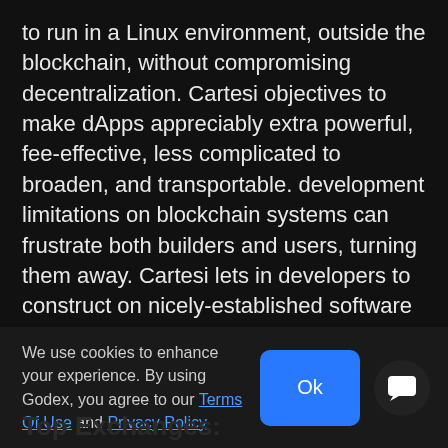to run in a Linux environment, outside the blockchain, without compromising decentralization. Cartesi objectives to make dApps appreciably extra powerful, fee-effective, less complicated to broaden, and transportable. development limitations on blockchain systems can frustrate both builders and users, turning them away. Cartesi lets in developers to construct on nicely-established software program they're familiar with, and running them in a Linux environment. The venture targets to bridge the distance between the centralized and decentralized worlds of utility improvement. The CTSI token has been designed to incentivize Cartesi Node operators to engage with the gadget in reality and in an green way.
We use cookies to enhance your experience. By using Godex, you agree to our Terms Of Use and Privacy Policy
Top Exchanges: